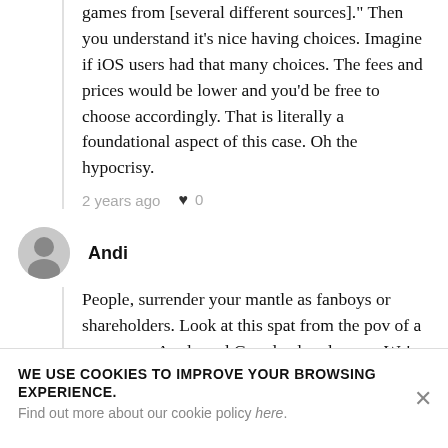games from [several different sources]." Then you understand it's nice having choices. Imagine if iOS users had that many choices. The fees and prices would be lower and you'd be free to choose accordingly. That is literally a foundational aspect of this case. Oh the hypocrisy.
2 years ago  ♥ 0
Andi
People, surrender your mantle as fanboys or shareholders. Look at this spat from the pov of a consumer. Apple and Google already won. We're no longer at the
WE USE COOKIES TO IMPROVE YOUR BROWSING EXPERIENCE.
Find out more about our cookie policy here.